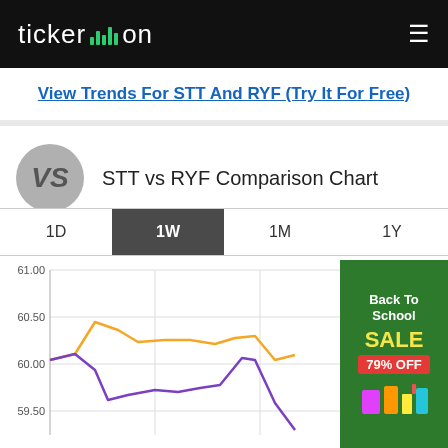ticker.on
View Trends For STT And RYF (Try It For Free)
STT vs RYF Comparison Chart
1D  1W  1M  1Y
[Figure (continuous-plot): STT vs RYF line comparison chart showing two lines (orange and purple) over 1 week period. Y-axis shows values from 59.50 to 61.00. The orange line peaks around 60.50 and gradually declines. The purple line follows a similar but lower trajectory, dropping to around 59.50.]
[Figure (infographic): Advertisement: Back To School SALE 79% OFF on green background with school supplies]